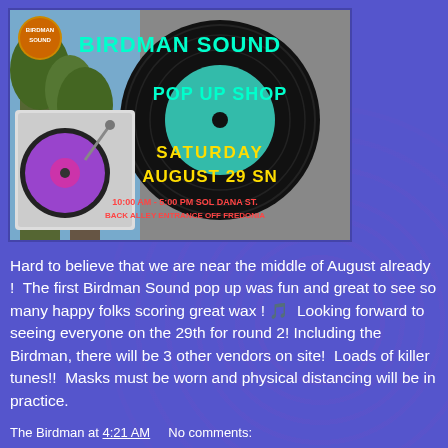[Figure (illustration): Birdman Sound Pop Up Shop event flyer showing a vinyl record turntable, text reading 'BIRDMAN SOUND POP UP SHOP SATURDAY AUGUST 29 SN 10:00 AM - 5:00 PM SOL DANA ST. BACK ALLEY ENTRANCE OFF FREDONIA']
Hard to believe that we are near the middle of August already !  The first Birdman Sound pop up was fun and great to see so many happy folks scoring great wax ! 🎵  Looking forward to seeing everyone on the 29th for round 2! Including the Birdman, there will be 3 other vendors on site!  Loads of killer tunes!!  Masks must be worn and physical distancing will be in practice.
The Birdman at 4:21 AM    No comments: